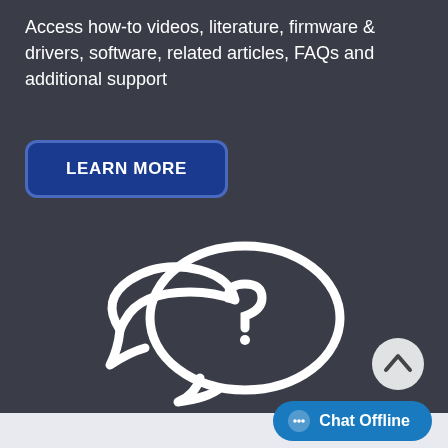Access how-to videos, literature, firmware & drivers, software, related articles, FAQs and additional support
[Figure (other): LEARN MORE button — dark blue rounded rectangle button with white bold uppercase text 'LEARN MORE' and blue border]
[Figure (illustration): Two overlapping speech bubble icons in white outline on dark background — larger bubble has a question mark inside, smaller bubble partially behind it]
[Figure (other): Circular scroll-to-top button with white chevron/caret pointing upward on grey circle]
[Figure (other): Chat Offline button — blue rounded pill shape with chat bubble dots icon and text 'Chat Offline']